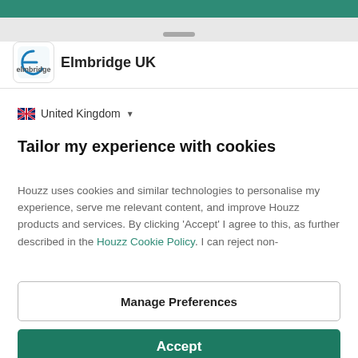[Figure (screenshot): Top navigation bar with teal/green background]
[Figure (logo): Elmbridge UK company logo - white background with blue/teal 'E' letter icon]
Elmbridge UK
United Kingdom
Tailor my experience with cookies
Houzz uses cookies and similar technologies to personalise my experience, serve me relevant content, and improve Houzz products and services. By clicking 'Accept' I agree to this, as further described in the Houzz Cookie Policy. I can reject non-
Manage Preferences
Accept